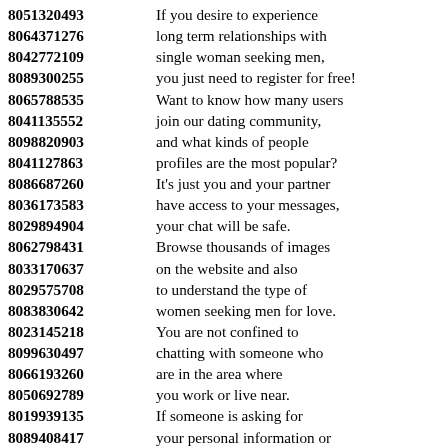8051320493 If you desire to experience
8064371276 long term relationships with
8042772109 single woman seeking men,
8089300255 you just need to register for free!
8065788535 Want to know how many users
8041135552 join our dating community,
8098820903 and what kinds of people
8041127863 profiles are the most popular?
8086687260 It's just you and your partner
8036173583 have access to your messages,
8029894904 your chat will be safe.
8062798431 Browse thousands of images
8033170637 on the website and also
8029575708 to understand the type of
8083830642 women seeking men for love.
8023145218 You are not confined to
8099630497 chatting with someone who
8066193260 are in the area where
8050692789 you work or live near.
8019939135 If someone is asking for
8089408417 your personal information or
8014514882 money, so, please, send
8037474664 the message immediately
8021595371 and protect your privacy.
8026117591 It is very important for you